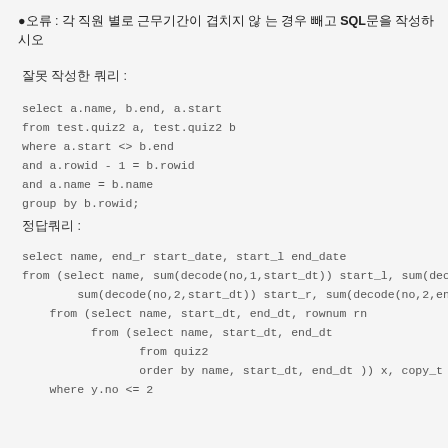●오류 : 각 직원 별로 근무기간이 겹치지 않 는 경우 빼고 SQL문을 작성하시오
잘못 작성한 쿼리 :
정답쿼리 :